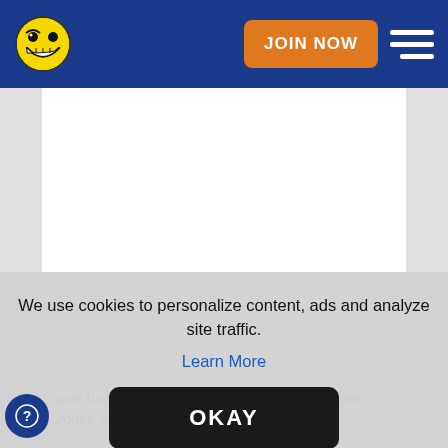JOIN NOW | [hamburger menu]
[Figure (screenshot): Website screenshot with blue navigation bar, yellow smiley face logo, orange JOIN NOW button, hamburger menu icon, white content area, and a cookie consent overlay popup with 'Learn More' link and 'OKAY' button.]
We use cookies to personalize content, ads and analyze site traffic.
Learn More
OKAY
give him an option like Godwin and it will create Jones and potentially keep Godwins' recent